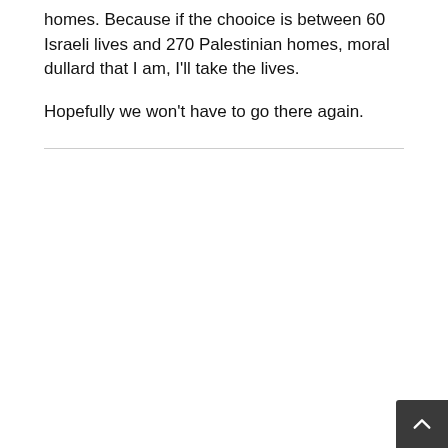homes. Because if the chooice is between 60 Israeli lives and 270 Palestinian homes, moral dullard that I am, I'll take the lives.
Hopefully we won't have to go there again.